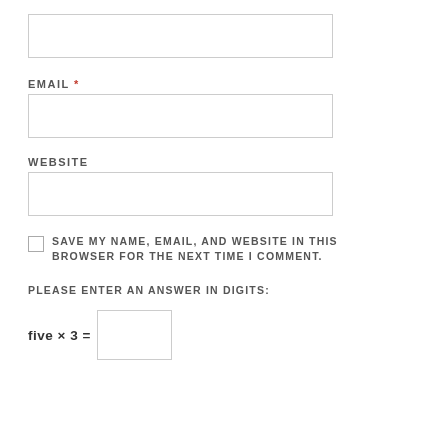[Figure (other): Empty text input box (first field, likely Name)]
EMAIL *
[Figure (other): Empty text input box for Email field]
WEBSITE
[Figure (other): Empty text input box for Website field]
SAVE MY NAME, EMAIL, AND WEBSITE IN THIS BROWSER FOR THE NEXT TIME I COMMENT.
PLEASE ENTER AN ANSWER IN DIGITS: